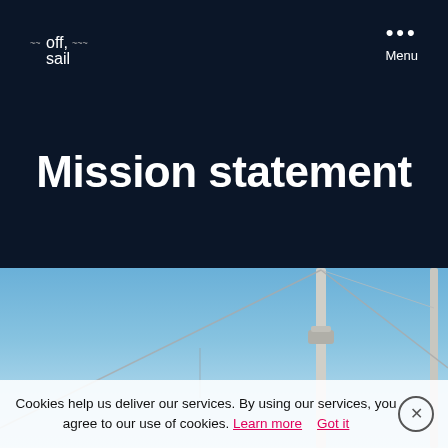[Figure (logo): Off.sail logo with wave decorations in white on dark navy background]
Menu
Mission statement
[Figure (photo): Blue sky with sailboat mast and rigging cables visible]
Cookies help us deliver our services. By using our services, you agree to our use of cookies. Learn more   Got it